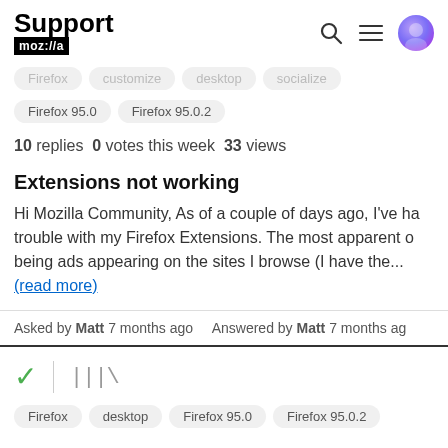Support mozilla
Firefox   customize   desktop   socialize
Firefox 95.0   Firefox 95.0.2
10 replies  0 votes this week  33 views
Extensions not working
Hi Mozilla Community, As of a couple of days ago, I've had trouble with my Firefox Extensions. The most apparent one being ads appearing on the sites I browse (I have the... (read more)
Asked by Matt 7 months ago   Answered by Matt 7 months ago